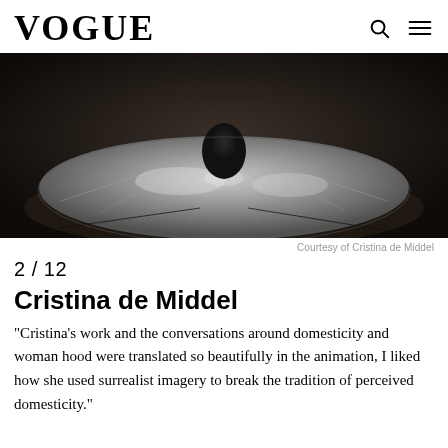VOGUE
[Figure (photo): Black and white photograph of a shiny metallic sculptural garment or art installation spread on a floor, resembling a wide dress shape made of metallic/plastic material, photographed from above in a dark room]
Courtesy of Cristina de Middel
2 / 12
Cristina de Middel
“Cristina’s work and the conversations around domesticity and woman hood were translated so beautifully in the animation, I liked how she used surrealist imagery to break the tradition of perceived domesticity.”